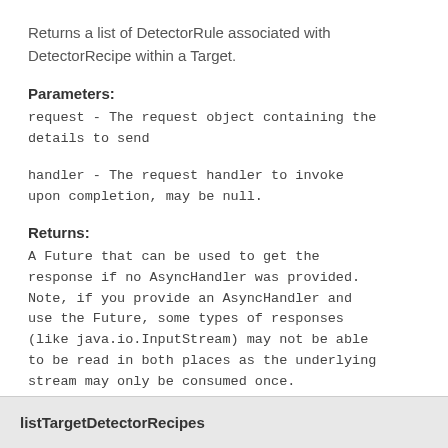Returns a list of DetectorRule associated with DetectorRecipe within a Target.
Parameters:
request - The request object containing the details to send
handler - The request handler to invoke upon completion, may be null.
Returns:
A Future that can be used to get the response if no AsyncHandler was provided. Note, if you provide an AsyncHandler and use the Future, some types of responses (like java.io.InputStream) may not be able to be read in both places as the underlying stream may only be consumed once.
listTargetDetectorRecipes